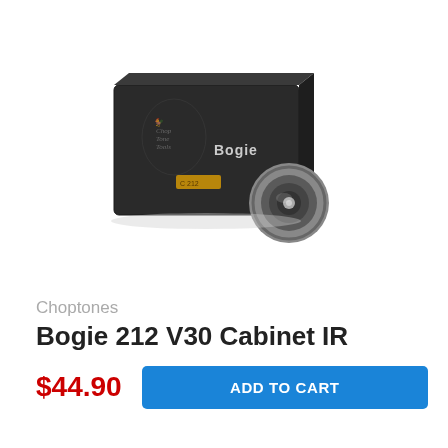[Figure (photo): Product photo of Choptones Bogie 212 V30 Cabinet IR — a dark rectangular guitar cabinet box with Bogie branding, accompanied by a round chrome speaker driver, shown on a white background.]
Choptones
Bogie 212 V30 Cabinet IR
$44.90
ADD TO CART